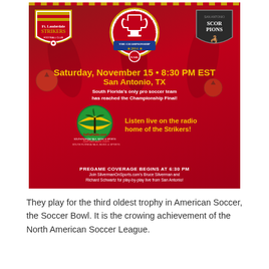[Figure (illustration): North American Soccer League Championship 2014 promotional poster. Red background with soccer players. Top left: Fort Lauderdale Strikers logo. Top center: NASL The Championship 2014 logo with trophy. Top right: San Antonio Scorpions logo. Center text: Saturday, November 15 • 8:30 PM EST / San Antonio, TX. Below: South Florida's only pro soccer team has reached the Championship Final! Radio section with SoFlaRadio.com logo and text: Listen live on the radio home of the Strikers! Bottom: PREGAME COVERAGE BEGINS AT 6:30 PM / Join SilvermanOnSports.com's Bruce Silverman and Richard Schwartz for play-by-play live from San Antonio!]
They play for the third oldest trophy in American Soccer, the Soccer Bowl. It is the crowing achievement of the North American Soccer League.